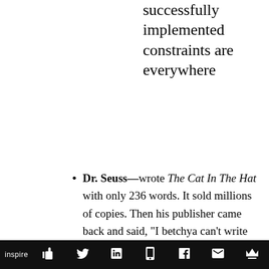successfully implemented constraints are everywhere
Dr. Seuss—wrote The Cat In The Hat with only 236 words. It sold millions of copies. Then his publisher came back and said, “I betchya can’t write another one with 50 words.” So
inspire [social media icons]